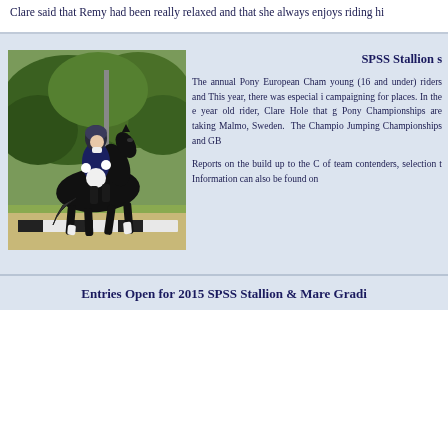Clare said that Remy had been really relaxed and that she always enjoys riding hi...
SPSS Stallion s...
[Figure (photo): A young female rider in a dark blue dressage jacket and helmet riding a black horse on a dressage arena with white boards, green trees in background.]
The annual Pony European Cham... young (16 and under) riders and... This year, there was especial i... campaigning for places. In the e... year old rider, Clare Hole that g... Pony Championships are taking ... Malmo, Sweden. The Champio... Jumping Championships and GB...
Reports on the build up to the C... of team contenders, selection t... Information can also be found on...
Entries Open for 2015 SPSS Stallion & Mare Gradi...